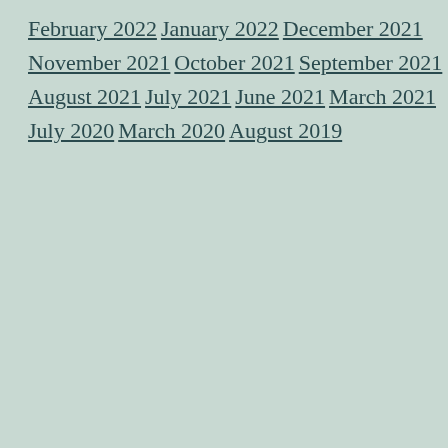February 2022
January 2022
December 2021
November 2021
October 2021
September 2021
August 2021
July 2021
June 2021
March 2021
July 2020
March 2020
August 2019